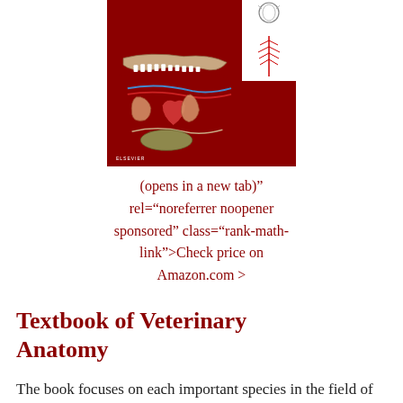[Figure (illustration): Book cover of a veterinary anatomy textbook with a dark red background, showing detailed anatomical illustration of an animal (dog/cat) internal organs, and a white panel in the upper right with additional anatomical drawings. Elsevier publisher logo at bottom left of cover.]
(opens in a new tab)” rel=“noreferrer noopener sponsored” class=“rank-math-link”>Check price on Amazon.com >
Textbook of Veterinary Anatomy
The book focuses on each important species in the field of veterinary medicine describing the essential anatomical details.